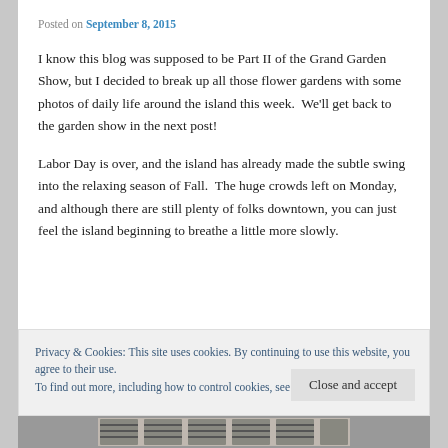Posted on September 8, 2015
I know this blog was supposed to be Part II of the Grand Garden Show, but I decided to break up all those flower gardens with some photos of daily life around the island this week.  We'll get back to the garden show in the next post!
Labor Day is over, and the island has already made the subtle swing into the relaxing season of Fall.  The huge crowds left on Monday, and although there are still plenty of folks downtown, you can just feel the island beginning to breathe a little more slowly.
Privacy & Cookies: This site uses cookies. By continuing to use this website, you agree to their use.
To find out more, including how to control cookies, see here: Cookie Policy
[Figure (photo): Bottom strip of a photograph showing building exterior with windows]